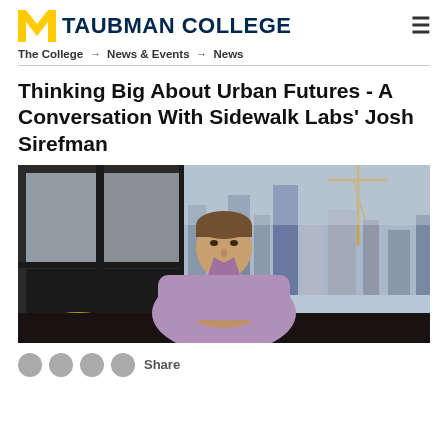M TAUBMAN COLLEGE
The College → News & Events → News
Thinking Big About Urban Futures - A Conversation With Sidewalk Labs' Josh Sirefman
[Figure (photo): Josh Sirefman seated at a dark table in front of large windows with a city skyline view, wearing a purple/lavender plaid shirt, hands clasped on the table. Yellow chairs visible to the left.]
Share